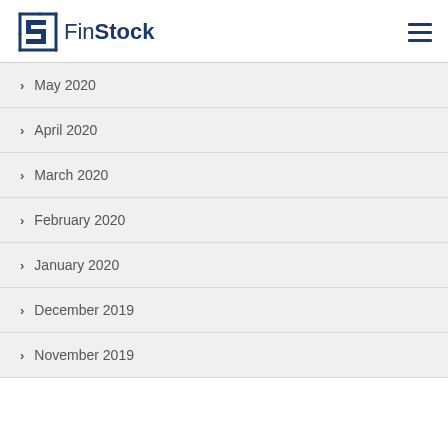FinStock
May 2020
April 2020
March 2020
February 2020
January 2020
December 2019
November 2019